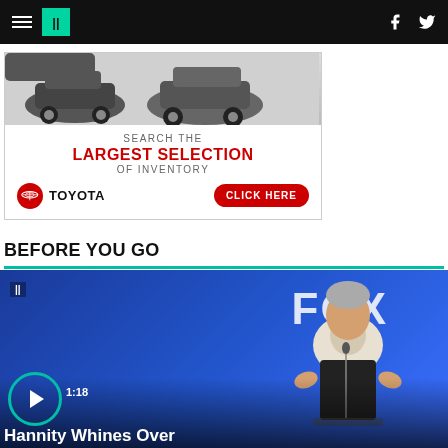HuffPost navigation bar with hamburger menu, logo, Facebook and Twitter icons
[Figure (photo): Toyota advertisement showing cars and text: SEARCH THE LARGEST SELECTION OF INVENTORY, Toyota logo, CLICK HERE button]
BEFORE YOU GO
[Figure (photo): Video thumbnail showing Sean Hannity at a podium in front of a FOX logo on a blue background. Duration 1:18. Title: Hannity Whines Over...]